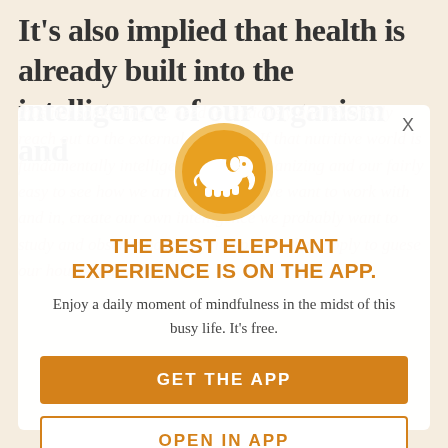It’s also implied that health is already built into the intelligence of our organism and thus not something we need to anxiously and feverishly reach out to the external world for. If that nutritive world is fundamentally intelligent and self-organizing and our fairly easy to see how we arrive at such if we want to work with and in, crease our own intelligence we probably want to study and observe natural principles to then apply to guese our house and
[Figure (illustration): White elephant silhouette on an orange circle with lighter orange border, serving as app logo]
THE BEST ELEPHANT EXPERIENCE IS ON THE APP.
Enjoy a daily moment of mindfulness in the midst of this busy life. It’s free.
GET THE APP
OPEN IN APP